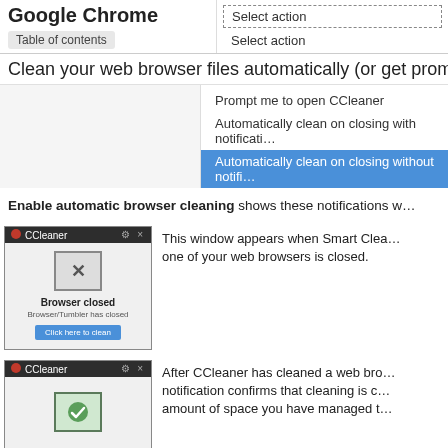Google Chrome
Table of contents
Clean your web browser files automatically (or get prom…
[Figure (screenshot): Dropdown menu showing options: Select action (selected/dashed), Select action, Prompt me to open CCleaner, Automatically clean on closing with notification, Automatically clean on closing without notification (highlighted blue)]
Enable automatic browser cleaning shows these notifications w…
[Figure (screenshot): CCleaner notification window showing 'Browser closed' with an X icon and 'Click here to clean' blue button]
This window appears when Smart Clea… one of your web browsers is closed.
[Figure (screenshot): CCleaner notification window showing a green checkmark icon after cleaning]
After CCleaner has cleaned a web bro… notification confirms that cleaning is c… amount of space you have managed t…